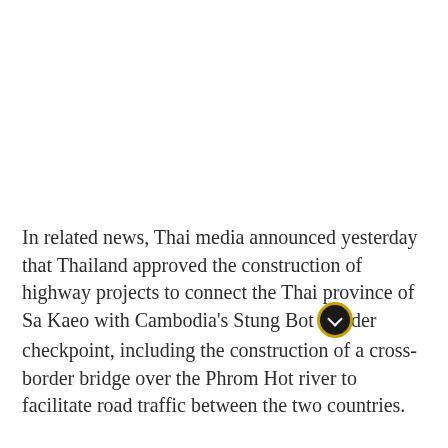In related news, Thai media announced yesterday that Thailand approved the construction of highway projects to connect the Thai province of Sa Kaeo with Cambodia's Stung Bot border checkpoint, including the construction of a cross-border bridge over the Phrom Hot river to facilitate road traffic between the two countries.